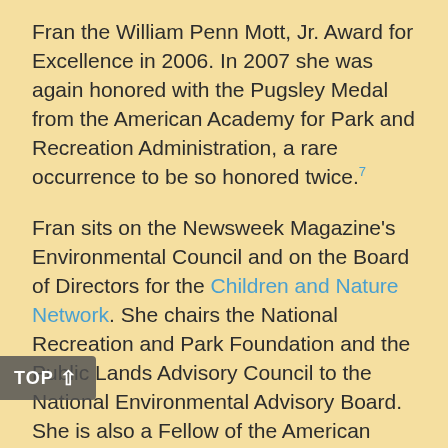Fran the William Penn Mott, Jr. Award for Excellence in 2006. In 2007 she was again honored with the Pugsley Medal from the American Academy for Park and Recreation Administration, a rare occurrence to be so honored twice.⁷
Fran sits on the Newsweek Magazine's Environmental Council and on the Board of Directors for the Children and Nature Network. She chairs the National Recreation and Park Foundation and the Public Lands Advisory Council to the National Environmental Advisory Board. She is also a Fellow of the American Academy for Park and Recreation Administration and is a member of the Board of Directors for the National Park Trust.
As a national speaker on play and as the co-chair of the US Play Coalition, Fran regularly speaks on the Nature Deficit Disorder, the title of one of her